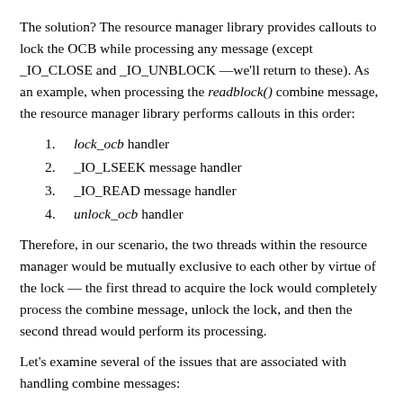The solution? The resource manager library provides callouts to lock the OCB while processing any message (except _IO_CLOSE and _IO_UNBLOCK —we'll return to these). As an example, when processing the readblock() combine message, the resource manager library performs callouts in this order:
1. lock_ocb handler
2. _IO_LSEEK message handler
3. _IO_READ message handler
4. unlock_ocb handler
Therefore, in our scenario, the two threads within the resource manager would be mutually exclusive to each other by virtue of the lock — the first thread to acquire the lock would completely process the combine message, unlock the lock, and then the second thread would perform its processing.
Let's examine several of the issues that are associated with handling combine messages:
Component responses